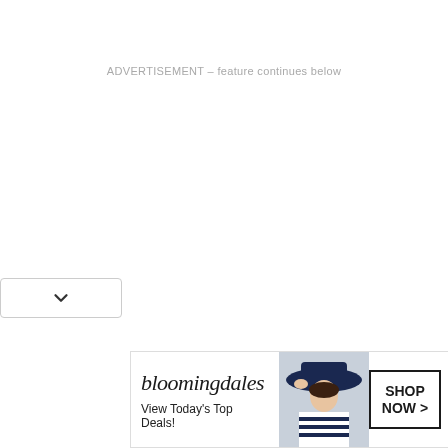ADVERTISEMENT – feature continues below
[Figure (screenshot): Bloomingdale's banner advertisement with model wearing hat, shop now button, and tagline 'View Today's Top Deals!']